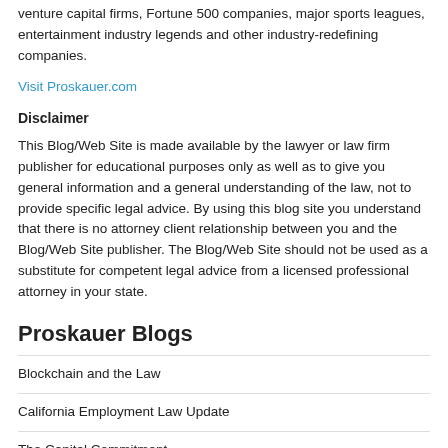venture capital firms, Fortune 500 companies, major sports leagues, entertainment industry legends and other industry-redefining companies.
Visit Proskauer.com
Disclaimer
This Blog/Web Site is made available by the lawyer or law firm publisher for educational purposes only as well as to give you general information and a general understanding of the law, not to provide specific legal advice. By using this blog site you understand that there is no attorney client relationship between you and the Blog/Web Site publisher. The Blog/Web Site should not be used as a substitute for competent legal advice from a licensed professional attorney in your state.
Proskauer Blogs
Blockchain and the Law
California Employment Law Update
The Capital Commitment
Coronavirus Insights
Corporate Defense and Disputes
Employee Benefits and Executive Compensation Law Blog
Government Contractor Compliance & Regulations